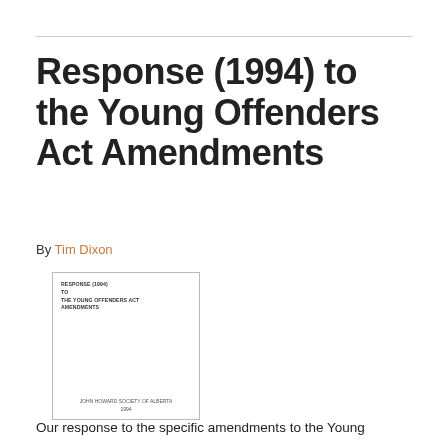Response (1994) to the Young Offenders Act Amendments
By Tim Dixon
[Figure (photo): Cover image of the document titled RESPONSE (1994) TO THE YOUNG OFFENDERS ACT AMENDMENTS, published by JOHN HOWARD SOCIETY OF ALBERTA, 1994]
Our response to the specific amendments to the Young